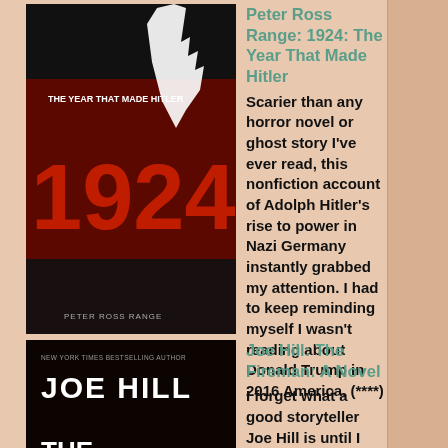[Figure (photo): Book cover: Peter Ross Range '1924: The Year That Made Hitler' - dark cover with large red '1924' text and a white hand reaching up]
Peter Ross Range: 1924: The Year That Made Hitler
Scarier than any horror novel or ghost story I've ever read, this nonfiction account of Adolph Hitler's rise to power in Nazi Germany instantly grabbed my attention. I had to keep reminding myself I wasn't reading about Donald Trump in 2016 America. (****)
[Figure (photo): Book cover: Joe Hill 'The Fireman: A Novel' - dark cover with fiery imagery and orange text]
Joe Hill: The Fireman: A Novel
I forget what a good storyteller Joe Hill is until I read one of his books. This apocalyptic tale reminds me that he's every bit as good as his dad Stephen King. In this story, set in the near future, a spore dubbed Dragonscale infects people, draws patterns on their